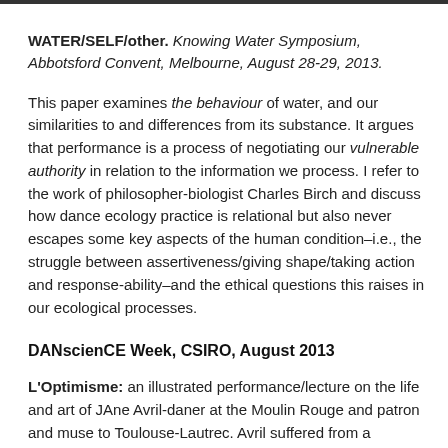WATER/SELF/other. Knowing Water Symposium, Abbotsford Convent, Melbourne, August 28-29, 2013.
This paper examines the behaviour of water, and our similarities to and differences from its substance. It argues that performance is a process of negotiating our vulnerable authority in relation to the information we process. I refer to the work of philosopher-biologist Charles Birch and discuss how dance ecology practice is relational but also never escapes some key aspects of the human condition–i.e., the struggle between assertiveness/giving shape/taking action and response-ability–and the ethical questions this raises in our ecological processes.
DANscienCE Week, CSIRO, August 2013
L'Optimisme: an illustrated performance/lecture on the life and art of JAne Avril-daner at the Moulin Rouge and patron and muse to Toulouse-Lautrec. Avril suffered from a